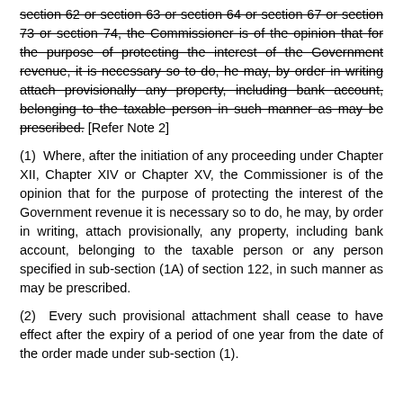section 62 or section 63 or section 64 or section 67 or section 73 or section 74, the Commissioner is of the opinion that for the purpose of protecting the interest of the Government revenue, it is necessary so to do, he may, by order in writing attach provisionally any property, including bank account, belonging to the taxable person in such manner as may be prescribed. [Refer Note 2]
(1) Where, after the initiation of any proceeding under Chapter XII, Chapter XIV or Chapter XV, the Commissioner is of the opinion that for the purpose of protecting the interest of the Government revenue it is necessary so to do, he may, by order in writing, attach provisionally, any property, including bank account, belonging to the taxable person or any person specified in sub-section (1A) of section 122, in such manner as may be prescribed.
(2) Every such provisional attachment shall cease to have effect after the expiry of a period of one year from the date of the order made under sub-section (1).